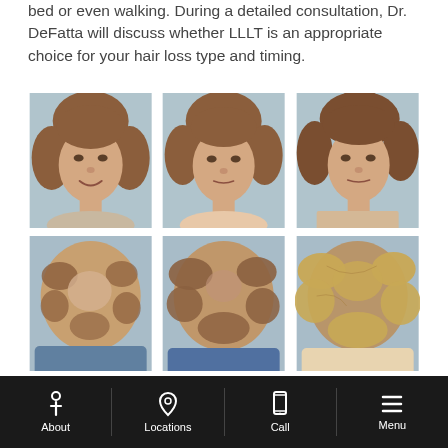bed or even walking. During a detailed consultation, Dr. DeFatta will discuss whether LLLT is an appropriate choice for your hair loss type and timing.
[Figure (photo): Six before-and-after photos of a woman showing hair restoration results. Top row: three front-facing portrait photos of an older woman with short reddish-brown hair against a light blue background. Bottom row: three top-of-head photos showing hair density from above, demonstrating hair regrowth after LLLT treatment.]
About  Locations  Call  Menu